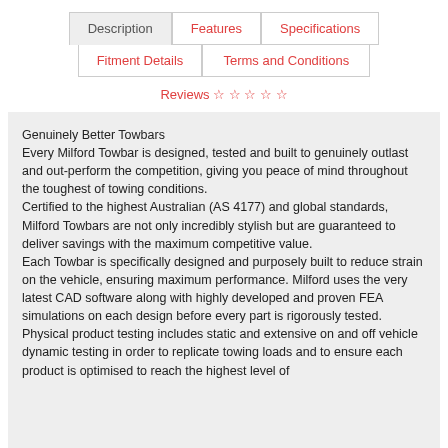Description | Features | Specifications | Fitment Details | Terms and Conditions | Reviews
Genuinely Better Towbars
Every Milford Towbar is designed, tested and built to genuinely outlast and out-perform the competition, giving you peace of mind throughout the toughest of towing conditions.
Certified to the highest Australian (AS 4177) and global standards, Milford Towbars are not only incredibly stylish but are guaranteed to deliver savings with the maximum competitive value.
Each Towbar is specifically designed and purposely built to reduce strain on the vehicle, ensuring maximum performance. Milford uses the very latest CAD software along with highly developed and proven FEA simulations on each design before every part is rigorously tested. Physical product testing includes static and extensive on and off vehicle dynamic testing in order to replicate towing loads and to ensure each product is optimised to reach the highest level of